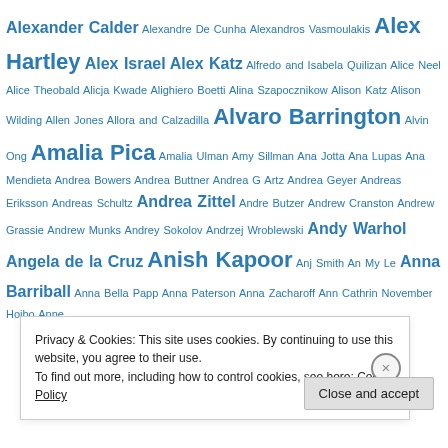Alexander Calder Alexandre De Cunha Alexandros Vasmoulakis Alex Hartley Alex Israel Alex Katz Alfredo and Isabela Quilizan Alice Neel Alice Theobald Alicja Kwade Alighiero Boetti Alina Szapocznikow Alison Katz Alison Wilding Allen Jones Allora and Calzadilla Alvaro Barrington Alvin Ong Amalia Pica Amalia Ulman Amy Sillman Ana Jotta Ana Lupas Ana Mendieta Andrea Bowers Andrea Buttner Andrea G Artz Andrea Geyer Andreas Eriksson Andreas Schultz Andrea Zittel Andre Butzer Andrew Cranston Andrew Grassie Andrew Munks Andrey Sokolov Andrzej Wroblewski Andy Warhol Angela de la Cruz Anish Kapoor Anj Smith An My Le Anna Barriball Anna Bella Papp Anna Paterson Anna Zacharoff Ann Cathrin November Hoibo Anne
Privacy & Cookies: This site uses cookies. By continuing to use this website, you agree to their use. To find out more, including how to control cookies, see here: Cookie Policy